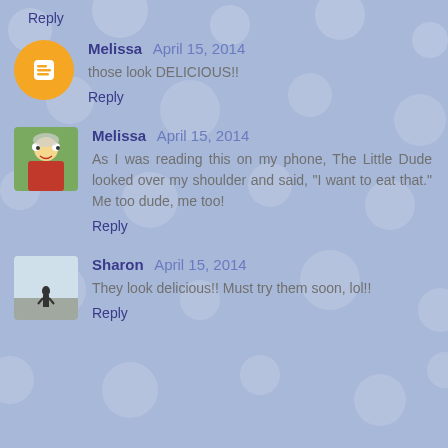Reply
Melissa April 15, 2014
those look DELICIOUS!!
Reply
Melissa April 15, 2014
As I was reading this on my phone, The Little Dude looked over my shoulder and said, "I want to eat that." Me too dude, me too!
Reply
Sharon April 15, 2014
They look delicious!! Must try them soon, lol!!
Reply